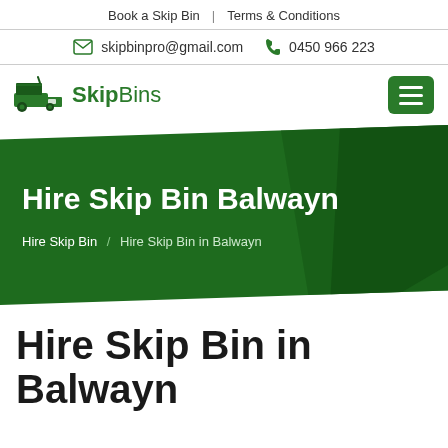Book a Skip Bin | Terms & Conditions
skipbinpro@gmail.com  0450 966 223
[Figure (logo): Skip Bins logo with truck icon in green]
Hire Skip Bin Balwayn
Hire Skip Bin / Hire Skip Bin in Balwayn
Hire Skip Bin in Balwayn